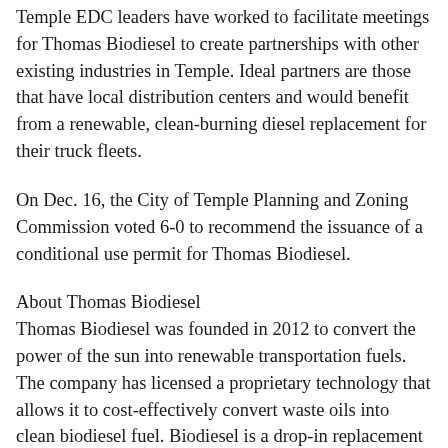Temple EDC leaders have worked to facilitate meetings for Thomas Biodiesel to create partnerships with other existing industries in Temple. Ideal partners are those that have local distribution centers and would benefit from a renewable, clean-burning diesel replacement for their truck fleets.
On Dec. 16, the City of Temple Planning and Zoning Commission voted 6-0 to recommend the issuance of a conditional use permit for Thomas Biodiesel.
About Thomas Biodiesel
Thomas Biodiesel was founded in 2012 to convert the power of the sun into renewable transportation fuels. The company has licensed a proprietary technology that allows it to cost-effectively convert waste oils into clean biodiesel fuel. Biodiesel is a drop-in replacement for diesel, requiring no changes to diesel engines. The company's first manufacturing facility will be located in Temple, TX; it can serve a range of